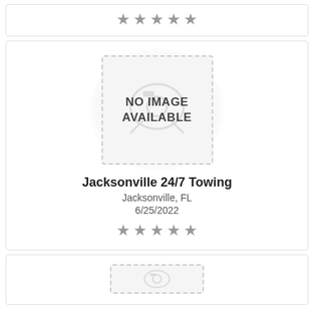[Figure (other): Star rating display showing 5 stars in gray at top of page]
[Figure (other): Business listing card for Jacksonville 24/7 Towing showing a 'NO IMAGE AVAILABLE' placeholder with dashed border, business name, location Jacksonville FL, date 6/25/2022, and 5 star rating]
Jacksonville 24/7 Towing
Jacksonville, FL
6/25/2022
[Figure (other): Partial business listing card at bottom showing the start of another NO IMAGE AVAILABLE placeholder]